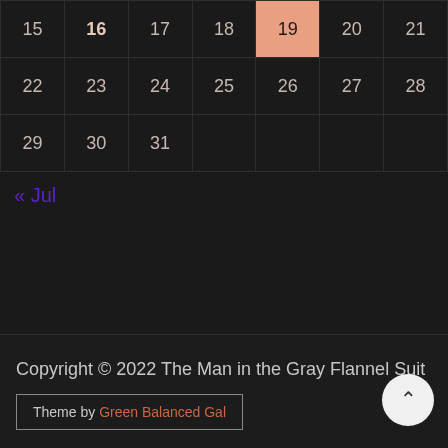| 15 | 16 | 17 | 18 | 19 | 20 | 21 |
| 22 | 23 | 24 | 25 | 26 | 27 | 28 |
| 29 | 30 | 31 |  |  |  |  |
« Jul
Copyright © 2022 The Man in the Gray Flannel Suit
Theme by Green Balanced Gal